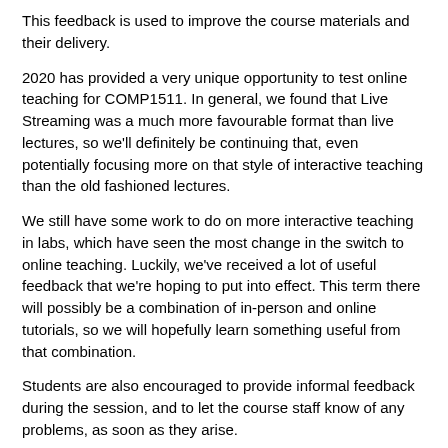This feedback is used to improve the course materials and their delivery.
2020 has provided a very unique opportunity to test online teaching for COMP1511. In general, we found that Live Streaming was a much more favourable format than live lectures, so we'll definitely be continuing that, even potentially focusing more on that style of interactive teaching than the old fashioned lectures.
We still have some work to do on more interactive teaching in labs, which have seen the most change in the switch to online teaching. Luckily, we've received a lot of useful feedback that we're hoping to put into effect. This term there will possibly be a combination of in-person and online tutorials, so we will hopefully learn something useful from that combination.
Students are also encouraged to provide informal feedback during the session, and to let the course staff know of any problems, as soon as they arise.
CSE may also run its own survey, midway through the term, to ellicit feedback while courses are still running. This course improves only because we see the difficulties that students have and try to adjust things so that you get to learn what you need. If anything's not working for you, please let us know and we'll do